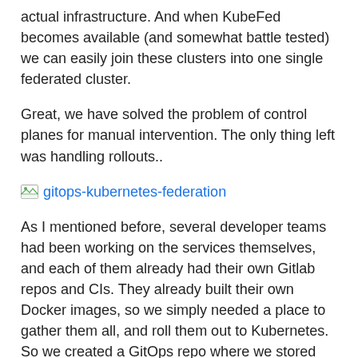actual infrastructure. And when KubeFed becomes available (and somewhat battle tested) we can easily join these clusters into one single federated cluster.
Great, we have solved the problem of control planes for manual intervention. The only thing left was handling rollouts..
[Figure (illustration): Image placeholder for gitops-kubernetes-federation]
As I mentioned before, several developer teams had been working on the services themselves, and each of them already had their own Gitlab repos and CIs. They already built their own Docker images, so we simply needed a place to gather them all, and roll them out to Kubernetes. So we created a GitOps repo where we stored the helm charts and set up a GitLab CI to build the actual releases, then deploy them.
From here on, it takes a simple loop over the clusters to